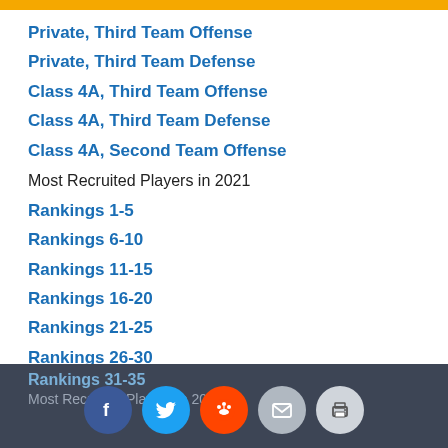Private, Third Team Offense
Private, Third Team Defense
Class 4A, Third Team Offense
Class 4A, Third Team Defense
Class 4A, Second Team Offense
Most Recruited Players in 2021
Rankings 1-5
Rankings 6-10
Rankings 11-15
Rankings 16-20
Rankings 21-25
Rankings 26-30
Rankings 31-35
Most Recruited Players in 2020